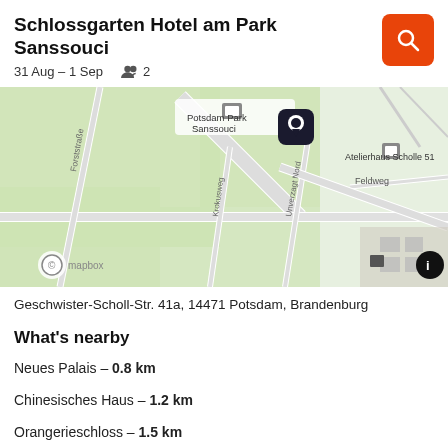Schlossgarten Hotel am Park Sanssouci
31 Aug – 1 Sep   👥 2
[Figure (map): Map showing location of Schlossgarten Hotel am Park Sanssouci near Potsdam Park Sanssouci. Map displays streets including Forststraße, Krokusweg, Unverzagt Nord, and Feldweg. Atelierhaus Scholle 51 is labeled. A pin marks the hotel location. Mapbox attribution shown.]
Geschwister-Scholl-Str. 41a, 14471 Potsdam, Brandenburg
What's nearby
Neues Palais – 0.8 km
Chinesisches Haus – 1.2 km
Orangerieschloss – 1.5 km
Rosengarten/Estat... – 1.6 km